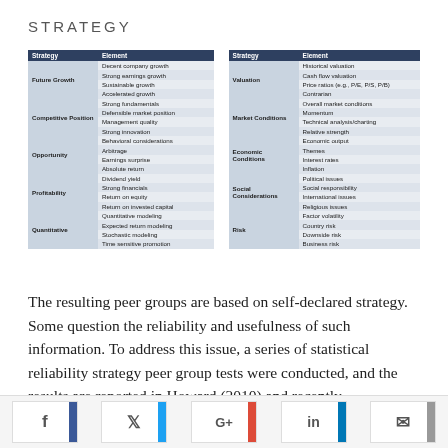STRATEGY
| Strategy | Element | Strategy | Element |
| --- | --- | --- | --- |
| Future Growth | Decent company growth | Valuation | Historical valuation |
|  | Strong earnings growth |  | Cash flow valuation |
|  | Sustainable growth |  | Price ratios (e.g., P/E, P/S, P/B) |
|  | Accelerated growth |  | Contrarian |
| Competitive Position | Strong fundamentals | Market Conditions | Overall market conditions |
|  | Defensible market position |  | Momentum |
|  | Management quality |  | Technical analysis/charting |
|  | Strong innovation |  | Relative strength |
| Opportunity | Behavioral considerations | Economic Conditions | Economic output |
|  | Arbitrage |  | Themes |
|  | Earnings surprise |  | Interest rates |
|  | Absolute return |  | Inflation |
| Profitability | Dividend yield | Social Considerations | Political issues |
|  | Strong financials |  | Social responsibility |
|  | Return on equity |  | International issues |
|  | Return on invested capital |  | Religious issues |
| Quantitative | Quantitative modeling | Risk | Factor volatility |
|  | Expected return modeling |  | Country risk |
|  | Stochastic modeling |  | Downside risk |
|  | Time sensitive promotion |  | Business risk |
The resulting peer groups are based on self-declared strategy. Some question the reliability and usefulness of such information. To address this issue, a series of statistical reliability strategy peer group tests were conducted, and the results are reported in Howard (2010) and recently